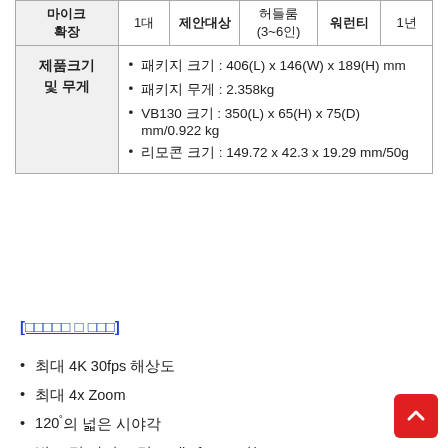|  | 1대 | 제안대상 | 허들룸(3~6인) | 워런티 | 1년 |
| --- | --- | --- | --- | --- | --- |
| 마이크 확장 | 1대 | 제안대상 | 허들룸(3~6인) | 워런티 | 1년 |
| 제품크기 및 무게 | • 패키지 크기 : 406(L) x 146(W) x 189(H) mm
• 패키지 무게 : 2.358kg
• VB130 크기 : 350(L) x 65(H) x 75(D) mm/0.922 kg
• 리모콘 크기 : 149.72 x 42.3 x 19.29 mm/50g |  |  |  |  |
[□□□□□ □ □□□]
최대 4K 30fps 해상도
최대 4x Zoom
120˚의 넓은 시야각
빔 포밍 마이크 및 Audio fence 기능